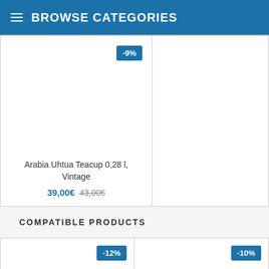BROWSE CATEGORIES
[Figure (photo): Product card showing Arabia Uhtua Teacup 0,28 l, Vintage with -9% discount badge, priced at 39,00€ (original 43,00€)]
COMPATIBLE PRODUCTS
[Figure (photo): Product card with -12% discount badge]
[Figure (photo): Product card with -10% discount badge]